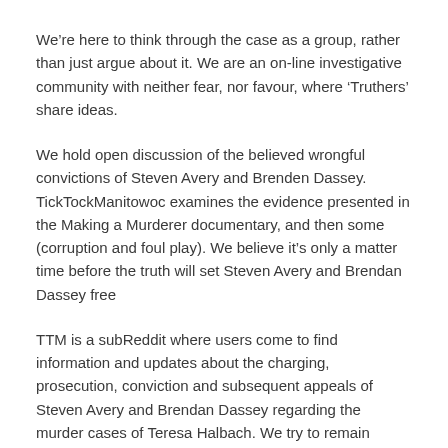We're here to think through the case as a group, rather than just argue about it. We are an on-line investigative community with neither fear, nor favour, where 'Truthers' share ideas.
We hold open discussion of the believed wrongful convictions of Steven Avery and Brenden Dassey. TickTockManitowoc examines the evidence presented in the Making a Murderer documentary, and then some (corruption and foul play). We believe it's only a matter time before the truth will set Steven Avery and Brendan Dassey free
TTM is a subReddit where users come to find information and updates about the charging, prosecution, conviction and subsequent appeals of Steven Avery and Brendan Dassey regarding the murder cases of Teresa Halbach. We try to remain drama free, but then some douche delivers flowers to a sitting judge in an open case…